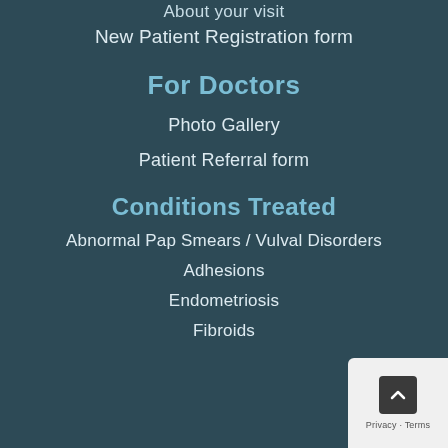About your visit
New Patient Registration form
For Doctors
Photo Gallery
Patient Referral form
Conditions Treated
Abnormal Pap Smears / Vulval Disorders
Adhesions
Endometriosis
Fibroids